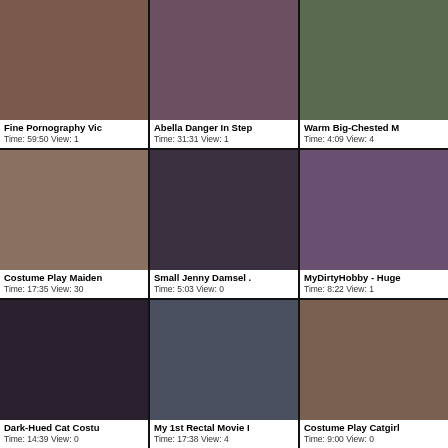[Figure (photo): Thumbnail grid of video cards, 3 columns x 3 rows plus partial 4th row]
Fine Pornography Vic — Time: 59:50 View: 1
Abella Danger In Step — Time: 31:31 View: 1
Warm Big-Chested M — Time: 4:09 View: 4
Costume Play Maiden — Time: 17:35 View: 30
Small Jenny Damsel . — Time: 5:03 View: 0
MyDirtyHobby - Huge — Time: 8:22 View: 1
Dark-Hued Cat Costu — Time: 14:39 View: 0
My 1st Rectal Movie I — Time: 17:38 View: 4
Costume Play Catgirl — Time: 9:00 View: 0